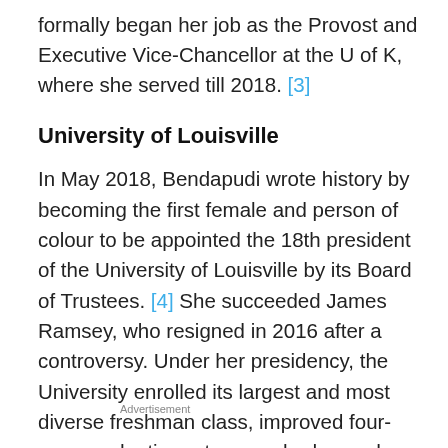formally began her job as the Provost and Executive Vice-Chancellor at the U of K, where she served till 2018. [3]
University of Louisville
In May 2018, Bendapudi wrote history by becoming the first female and person of colour to be appointed the 18th president of the University of Louisville by its Board of Trustees. [4] She succeeded James Ramsey, who resigned in 2016 after a controversy. Under her presidency, the University enrolled its largest and most diverse freshman class, improved four-year graduation rates, reached record enrollment levels, and increased annual sponsored research by nearly 80%. During her tenure, U of L became a national